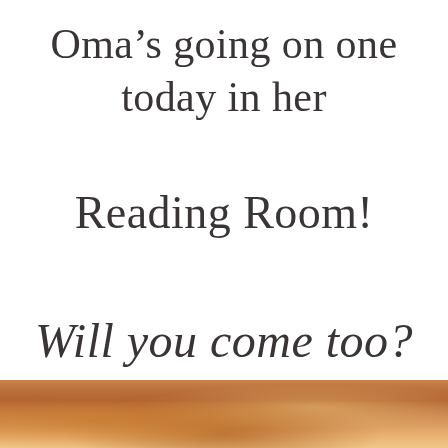Oma’s going on one today in her
Reading Room!
Will you come too?
[Figure (photo): Partial photo visible at bottom of page, showing warm orange and brown tones, appears to be a person or scene with warm lighting.]